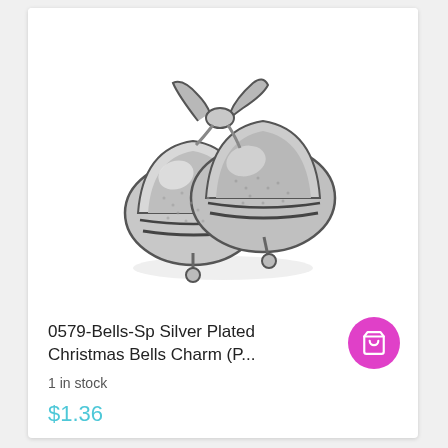[Figure (photo): Silver plated Christmas bells charm, antique silver finish, showing two bells with a bow on top, detailed engraving]
0579-Bells-Sp Silver Plated Christmas Bells Charm (P...
1 in stock
$1.36